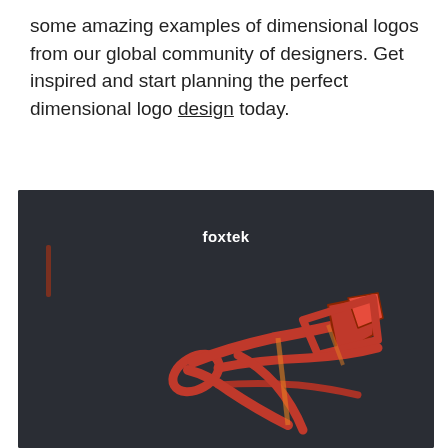some amazing examples of dimensional logos from our global community of designers. Get inspired and start planning the perfect dimensional logo design today.
[Figure (logo): Dark background card showing the 'foxtek' logo — a stylized red/orange fox or calligraphic mark with dimensional shading on a dark charcoal background. The word 'foxtek' appears in white bold text above the mark.]